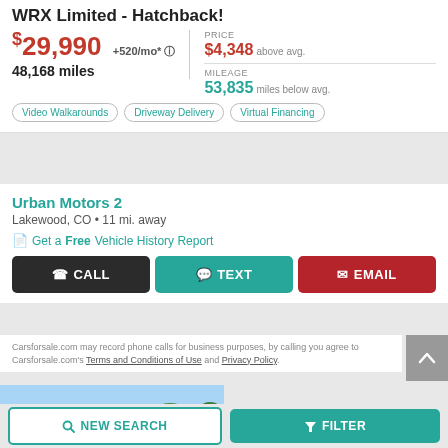WRX Limited - Hatchback!
$29,990 +520/mo* 48,168 miles
PRICE $4,348 above avg.
MILEAGE 53,835 miles below avg.
Video Walkarounds
Driveway Delivery
Virtual Financing
Urban Motors 2
Lakewood, CO • 11 mi. away
Get a Free Vehicle History Report
CALL  TEXT  EMAIL
Carsforsale.com may record phone calls for business purposes, by calling you agree to Carsforsale.com's Terms and Conditions of Use and Privacy Policy.
[Figure (photo): Car listing photo showing sky and trees]
NEW SEARCH  FILTER